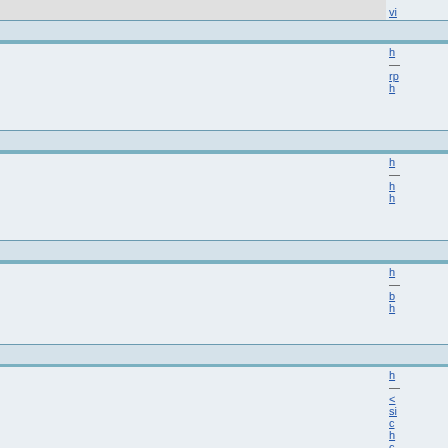| User | Links |
| --- | --- |
| (partial top) | vi... |
| 11.11.2014 10:30 |  |
| affeleDet
Gast | h...
rp...
h... |
| 11.11.2014 11:45 |  |
| Kgthbbguax
Gast | h...
h...
h... |
| 11.11.2014 16:32 |  |
| affeleDet
Gast | h...
b...
h... |
| 11.11.2014 17:23 |  |
| Wallacekl
Gast | h...
<...
si...
c...
h...
c...
ci...
h...
e...
p...
b...
c... |